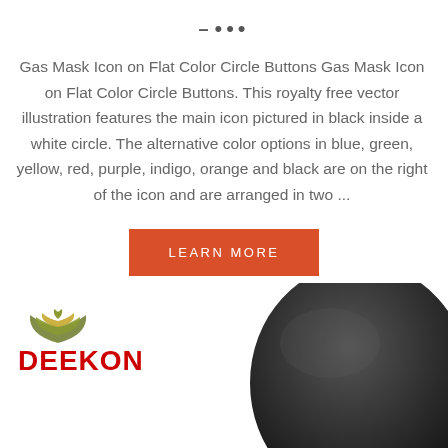– •••
Gas Mask Icon on Flat Color Circle Buttons Gas Mask Icon on Flat Color Circle Buttons. This royalty free vector illustration features the main icon pictured in black inside a white circle. The alternative color options in blue, green, yellow, red, purple, indigo, orange and black are on the right of the icon and are arranged in two ...
LEARN MORE
[Figure (photo): DEEKON logo with emblem above and a dark military helmet occupying the lower right portion of the image. The helmet is black/dark grey and takes up the right half of the picture area.]